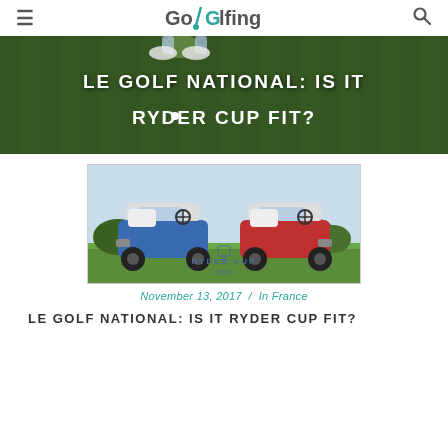GoGolfing
[Figure (photo): Hero banner with green grass background and golfer's feet/shoes visible at top. White text overlay reads: LE GOLF NATIONAL: IS IT RYDER CUP FIT?]
[Figure (photo): Two golf carts on a golf course — one blue and one red — with a Ryder Cup 2018 logo between them on the grass.]
November 13, 2017 / In France
LE GOLF NATIONAL: IS IT RYDER CUP FIT?